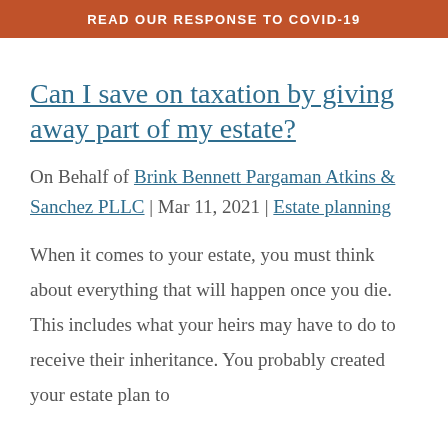READ OUR RESPONSE TO COVID-19
Can I save on taxation by giving away part of my estate?
On Behalf of Brink Bennett Pargaman Atkins & Sanchez PLLC | Mar 11, 2021 | Estate planning
When it comes to your estate, you must think about everything that will happen once you die. This includes what your heirs may have to do to receive their inheritance. You probably created your estate plan to